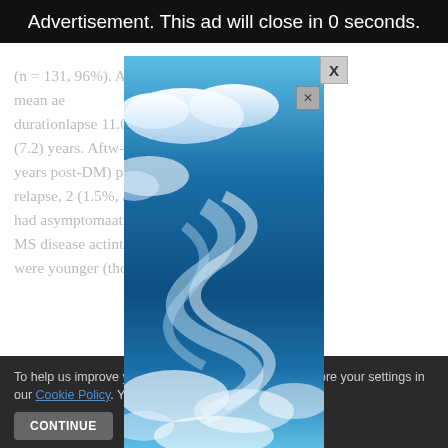Advertisement. This ad will close in 0 seconds.
(n = 131, 96%). At the time of DMT discontinuation, mean age ... duration ... lapse 11.0 (7.2) years. After ... w-up of 5.0 years post-DMT ... patients had a relapse, 2 (1.5% ... , and 3 (2.2%) had asymptoma ... atients with MS disease acti ... ntinuation were younger ( ... those who
[Figure (photo): Advertisement overlay image showing blue sky with clouds]
To help us improve y... his website uses cookies. Learn more ... your settings in our Cookie Policy. You ca...
CONTINUE
FIN...